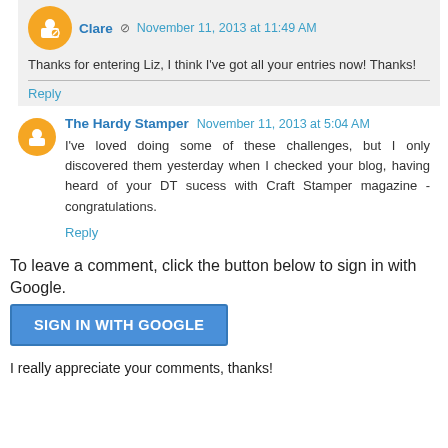Clare · November 11, 2013 at 11:49 AM
Thanks for entering Liz, I think I've got all your entries now! Thanks!
Reply
The Hardy Stamper  November 11, 2013 at 5:04 AM
I've loved doing some of these challenges, but I only discovered them yesterday when I checked your blog, having heard of your DT sucess with Craft Stamper magazine - congratulations.
Reply
To leave a comment, click the button below to sign in with Google.
SIGN IN WITH GOOGLE
I really appreciate your comments, thanks!